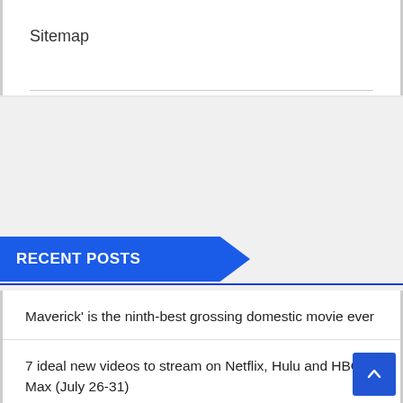Sitemap
RECENT POSTS
Maverick' is the ninth-best grossing domestic movie ever
7 ideal new videos to stream on Netflix, Hulu and HBO Max (July 26-31)
Tony Winners KO and Gavin Creel Sign up for 2022 Countrywide Music Theatre Convention
How the spirit of ancient Stonehenge was captured with a 21st-century drone